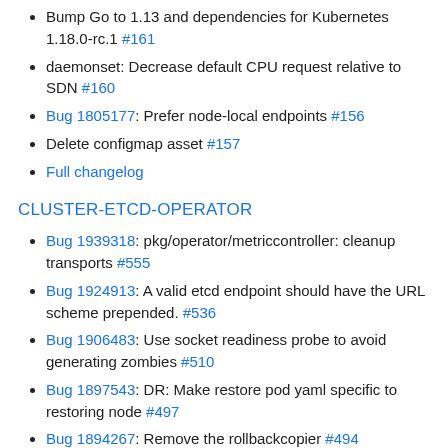Bump Go to 1.13 and dependencies for Kubernetes 1.18.0-rc.1 #161
daemonset: Decrease default CPU request relative to SDN #160
Bug 1805177: Prefer node-local endpoints #156
Delete configmap asset #157
Full changelog
CLUSTER-ETCD-OPERATOR
Bug 1939318: pkg/operator/metriccontroller: cleanup transports #555
Bug 1924913: A valid etcd endpoint should have the URL scheme prepended. #536
Bug 1906483: Use socket readiness probe to avoid generating zombies #510
Bug 1897543: DR: Make restore pod yaml specific to restoring node #497
Bug 1894267: Remove the rollbackcopier #494